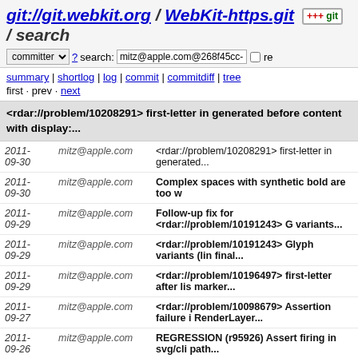git://git.webkit.org / WebKit-https.git / search
committer ▾ ? search: mitz@apple.com@268f45cc- re
summary | shortlog | log | commit | commitdiff | tree
first · prev · next
<rdar://problem/10208291> first-letter in generated before content with display:...
| Date | Author | Commit message |
| --- | --- | --- |
| 2011-09-30 | mitz@apple.com | <rdar://problem/10208291> first-letter in generated... |
| 2011-09-30 | mitz@apple.com | Complex spaces with synthetic bold are too w |
| 2011-09-29 | mitz@apple.com | Follow-up fix for <rdar://problem/10191243> G variants... |
| 2011-09-29 | mitz@apple.com | <rdar://problem/10191243> Glyph variants (lin final... |
| 2011-09-29 | mitz@apple.com | <rdar://problem/10196497> first-letter after lis marker... |
| 2011-09-27 | mitz@apple.com | <rdar://problem/10098679> Assertion failure i RenderLayer... |
| 2011-09-26 | mitz@apple.com | REGRESSION (r95926) Assert firing in svg/cli path... |
| 2011-09-25 | mitz@apple.com | <rdar://problem/10156263> ASSERT in WebCore::FrameView... |